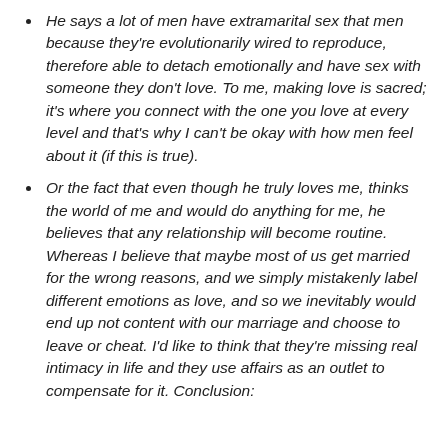He says a lot of men have extramarital sex that men because they're evolutionarily wired to reproduce, therefore able to detach emotionally and have sex with someone they don't love. To me, making love is sacred; it's where you connect with the one you love at every level and that's why I can't be okay with how men feel about it (if this is true).
Or the fact that even though he truly loves me, thinks the world of me and would do anything for me, he believes that any relationship will become routine. Whereas I believe that maybe most of us get married for the wrong reasons, and we simply mistakenly label different emotions as love, and so we inevitably would end up not content with our marriage and choose to leave or cheat. I'd like to think that they're missing real intimacy in life and they use affairs as an outlet to compensate for it. Conclusion: